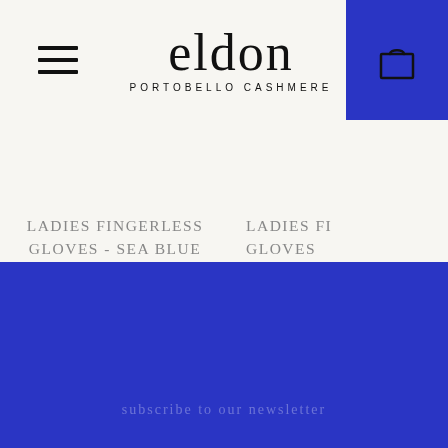eldon PORTOBELLO CASHMERE
LADIES FINGERLESS GLOVES - SEA BLUE £29.00
LADIES FINGERLESS GLOVES £2...
subscribe to our newsletter